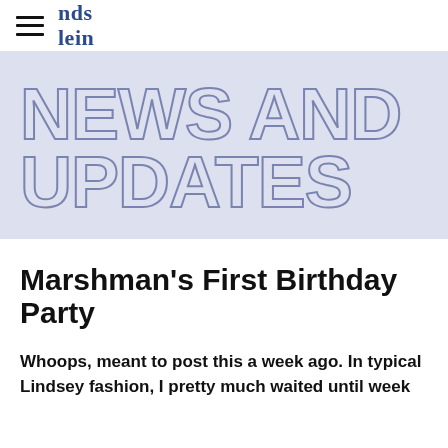nds­lein
NEWS AND UPDATES
Marshman's First Birthday Party
Whoops, meant to post this a week ago. In typical Lindsey fashion, I pretty much waited until week